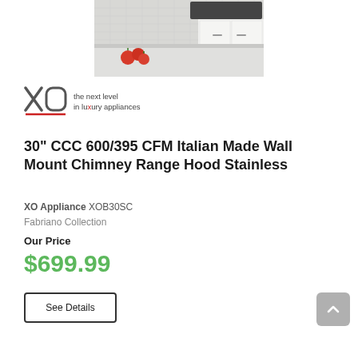[Figure (photo): Kitchen countertop photo showing white cabinets, gas cooktop, and tomatoes on the counter]
[Figure (logo): XO Appliance logo with text: the next level in luxury appliances]
30" CCC 600/395 CFM Italian Made Wall Mount Chimney Range Hood Stainless
XO Appliance XOB30SC
Fabriano Collection
Our Price
$699.99
See Details